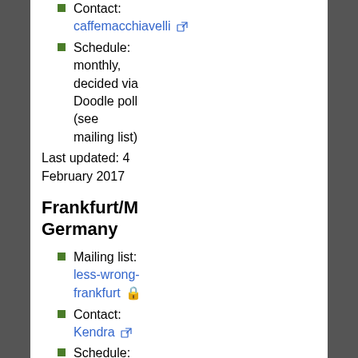Contact: caffemacchiavelli [external link]
Schedule: monthly, decided via Doodle poll (see mailing list)
Last updated: 4 February 2017
Frankfurt/M Germany
Mailing list: less-wrong-frankfurt [lock icon]
Contact: Kendra [external link]
Schedule: Irregular
Hamburg, Germany